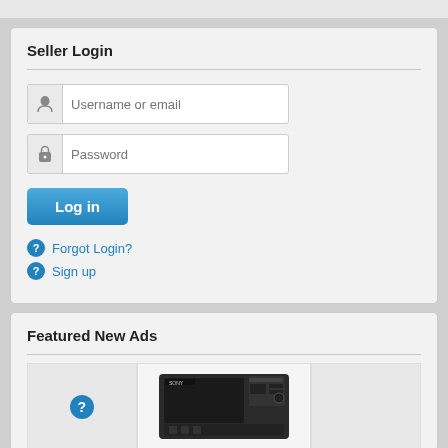Seller Login
Username or email
Password
Log in
Forgot Login?
Sign up
Featured New Ads
[Figure (photo): Sony camera body product image in featured ads section]
[Figure (other): Empty featured ad placeholder with question mark icon]